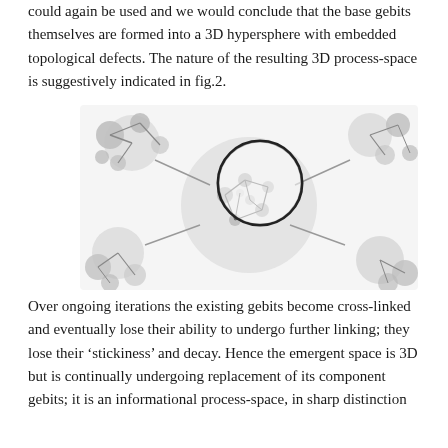could again be used and we would conclude that the base gebits themselves are formed into a 3D hypersphere with embedded topological defects. The nature of the resulting 3D process-space is suggestively indicated in fig.2.
[Figure (illustration): Grayscale illustration of interconnected molecular-like spheres (gebits) networked together, with a magnified circular inset showing a closer view of linked smaller spheres, representing a 3D process-space with topological structure.]
Over ongoing iterations the existing gebits become cross-linked and eventually lose their ability to undergo further linking; they lose their 'stickiness' and decay. Hence the emergent space is 3D but is continually undergoing replacement of its component gebits; it is an informational process-space, in sharp distinction